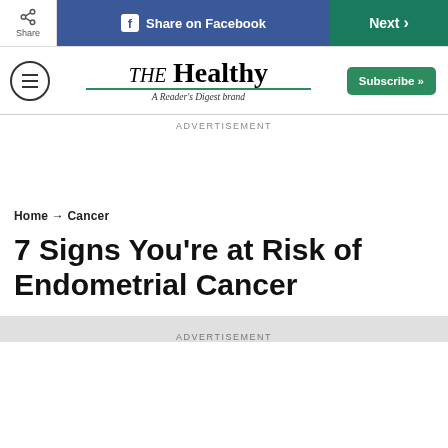Share | Share on Facebook | Next
[Figure (logo): THE Healthy — A Reader's Digest brand logo with hamburger menu and Subscribe button]
ADVERTISEMENT
Home → Cancer
7 Signs You're at Risk of Endometrial Cancer
ADVERTISEMENT